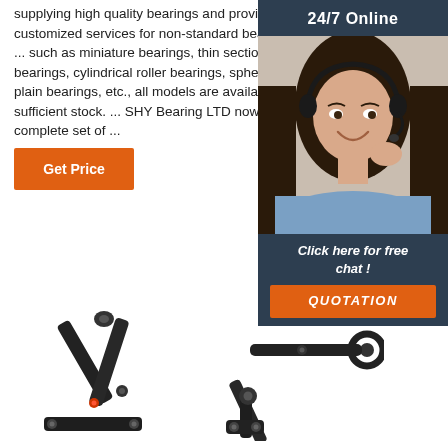supplying high quality bearings and providing customized services for non-standard bearings. ... such as miniature bearings, thin section bearings, cylindrical roller bearings, spherical plain bearings, etc., all models are available, sufficient stock. ... SHY Bearing LTD now complete set of ...
Get Price
[Figure (photo): 24/7 Online banner with a woman wearing a headset smiling, with 'Click here for free chat!' and an orange QUOTATION button]
[Figure (photo): Two black metal mechanical arm/bracket hardware product images at the bottom of the page]